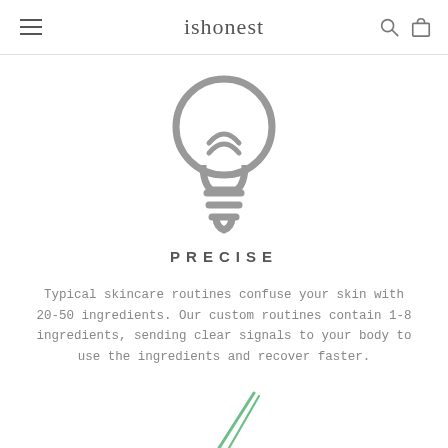ishonest
[Figure (illustration): Light bulb icon in gray outline style, centered on page]
PRECISE
Typical skincare routines confuse your skin with 20-50 ingredients. Our custom routines contain 1-8 ingredients, sending clear signals to your body to use the ingredients and recover faster.
[Figure (illustration): Partial green leaf or plant illustration at bottom of page, partially cropped]